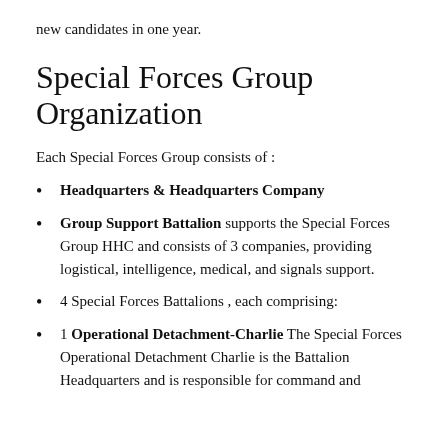new candidates in one year.
Special Forces Group Organization
Each Special Forces Group consists of :
Headquarters & Headquarters Company
Group Support Battalion supports the Special Forces Group HHC and consists of 3 companies, providing logistical, intelligence, medical, and signals support.
4 Special Forces Battalions , each comprising:
1 Operational Detachment-Charlie The Special Forces Operational Detachment Charlie is the Battalion Headquarters and is responsible for command and